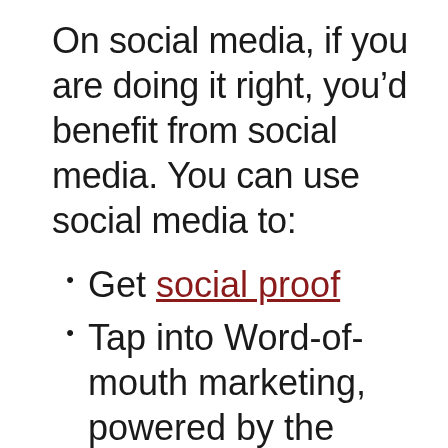On social media, if you are doing it right, you’d benefit from social media. You can use social media to:
Get social proof
Tap into Word-of-mouth marketing, powered by the scale of social.
Distribute the content you create on social